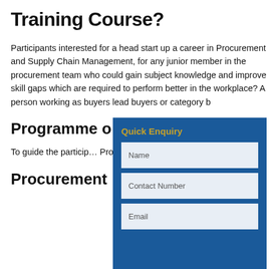Training Course?
Participants interested for a head start up a career in Procurement and Supply Chain Management, for any junior member in the procurement team who could gain subject knowledge and improve skill gaps which are required to perform better in the workplace? A person working as buyers lead buyers or category b…
Programme o…
To guide the partic… Procurement where… add value to the pr…
Procurement…
[Figure (other): Quick Enquiry form panel with blue background, containing fields for Name, Contact Number, and Email]